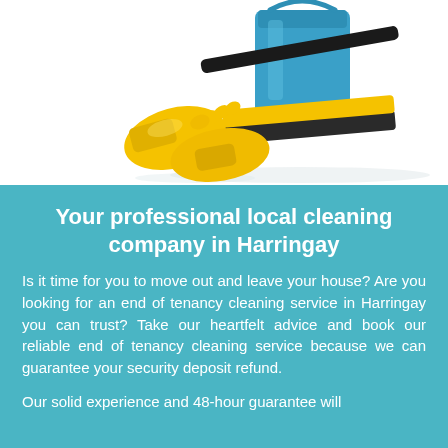[Figure (photo): Cleaning supplies: yellow rubber gloves, a blue bucket, and a yellow floor squeegee/wiper on a white background]
Your professional local cleaning company in Harringay
Is it time for you to move out and leave your house? Are you looking for an end of tenancy cleaning service in Harringay you can trust? Take our heartfelt advice and book our reliable end of tenancy cleaning service because we can guarantee your security deposit refund.
Our solid experience and 48-hour guarantee will